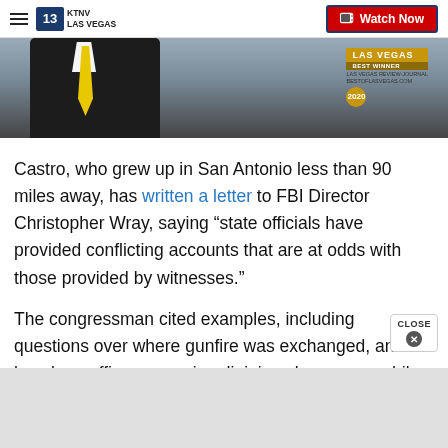KTNV LAS VEGAS | Watch Now
[Figure (photo): Partial view of a person in a dark suit with yellow tie, alongside a Las Vegas Best of Las Vegas 2020 Las Vegas Review-Journal badge/award logo]
Castro, who grew up in San Antonio less than 90 miles away, has written a letter to FBI Director Christopher Wray, saying “state officials have provided conflicting accounts that are at odds with those provided by witnesses.”
The congressman cited examples, including questions over where gunfire was exchanged, and how long officers were in adjoining classrooms while the